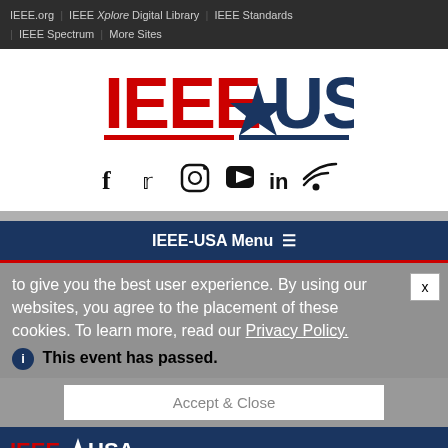IEEE.org | IEEE Xplore Digital Library | IEEE Standards | IEEE Spectrum | More Sites
[Figure (logo): IEEE-USA logo with red IEEE text, star, and dark blue USA text with red and blue underlines]
[Figure (infographic): Social media icons: Facebook, Twitter, Instagram, YouTube, LinkedIn, RSS]
IEEE-USA Menu ≡
to give you the best user experience. By using our websites, you agree to the placement of these cookies. To learn more, read our Privacy Policy.
ℹ This event has passed.
Accept & Close
[Figure (logo): IEEE-USA Livestream Webinar logo on dark blue background with partial photo of people]